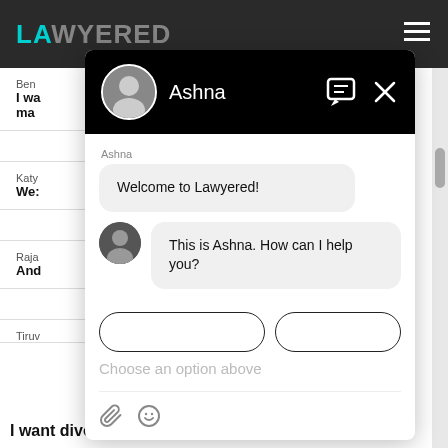[Figure (screenshot): Screenshot of the Lawyered website with a chat widget overlay. The website shows a dark navigation bar with the Lawyered logo and hamburger menu. The chat widget shows a conversation with an AI assistant named Ashna, displaying messages 'Welcome to Lawyered!' and 'This is Ashna. How can I help you?', with a 'Choose an option above' input placeholder and toolbar icons.]
Ashna
Welcome to Lawyered!
This is Ashna. How can I help you?
Choose an option above
I want divorce